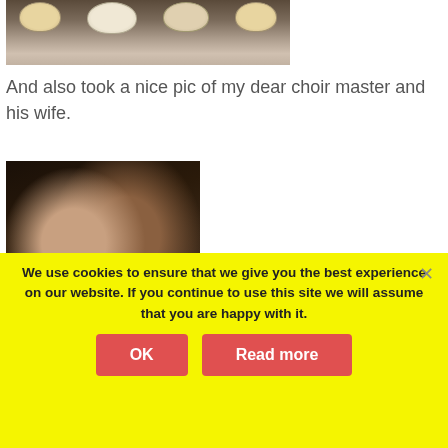[Figure (photo): Partial top photo showing bowls of food on a dark table surface]
And also took a nice pic of my dear choir master and his wife.
[Figure (photo): Photo of a couple posing together in a dimly lit room]
We use cookies to ensure that we give you the best experience on our website. If you continue to use this site we will assume that you are happy with it.